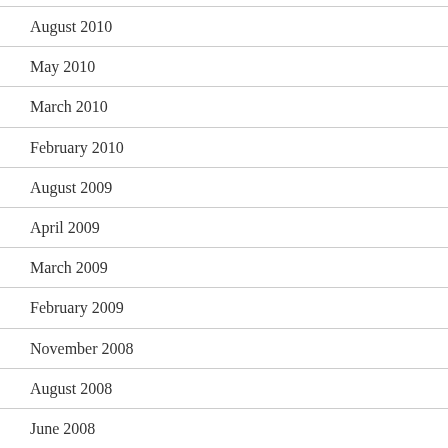August 2010
May 2010
March 2010
February 2010
August 2009
April 2009
March 2009
February 2009
November 2008
August 2008
June 2008